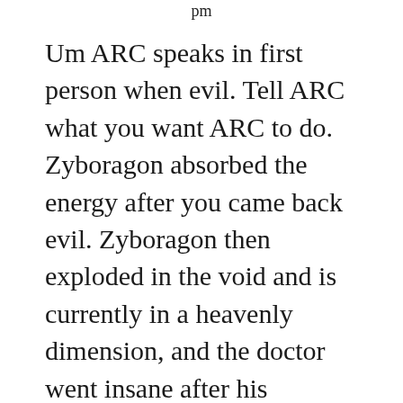pm
Um ARC speaks in first person when evil. Tell ARC what you want ARC to do. Zyboragon absorbed the energy after you came back evil. Zyboragon then exploded in the void and is currently in a heavenly dimension, and the doctor went insane after his girlfriend the kitsune got klled. He gave his powers to